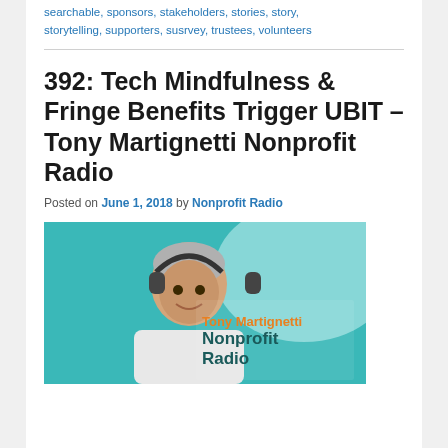searchable, sponsors, stakeholders, stories, story, storytelling, supporters, susrvey, trustees, volunteers
392: Tech Mindfulness & Fringe Benefits Trigger UBIT – Tony Martignetti Nonprofit Radio
Posted on June 1, 2018 by Nonprofit Radio
[Figure (photo): Photo of Tony Martignetti wearing headphones, smiling, with text 'Tony Martignetti Nonprofit Radio' on a teal/blue background]